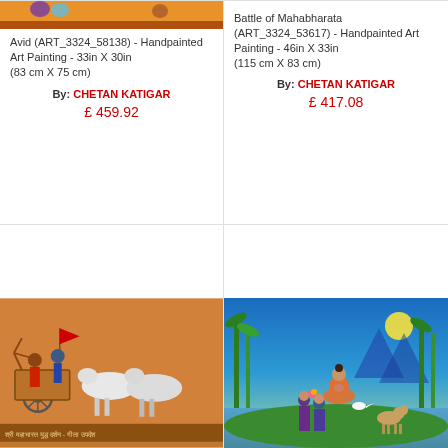[Figure (photo): Top portion of Avid handpainted art painting showing colorful Indian figures on orange background]
Avid (ART_3324_58138) - Handpainted Art Painting - 33in X 30in
(83 cm X 75 cm)
By: CHETAN KATIGAR
£ 459.92
[Figure (photo): Top red banner strip of Battle of Mahabharata painting]
Battle of Mahabharata (ART_3324_53617) - Handpainted Art Painting - 46in X 33in
(115 cm X 83 cm)
By: CHETAN KATIGAR
£ 417.08
[Figure (photo): Indian painting on orange background showing chariot scene with horses and figures, text in Devanagari script at bottom]
[Figure (photo): Indian painting showing Buddha or sage in orange robes meditating near water, with two women offering flowers, green bamboo forest background, deer nearby]